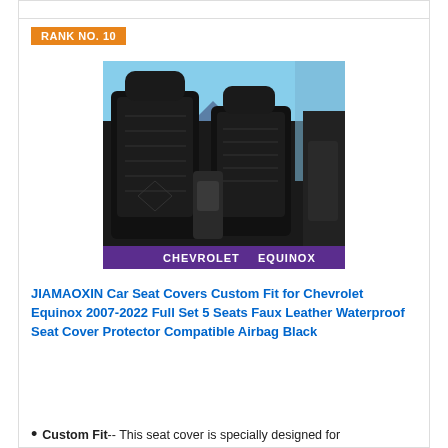RANK NO. 10
[Figure (photo): Black faux leather car seat covers installed in a Chevrolet Equinox vehicle interior, showing the front two seats with headrests and the vehicle label CHEVROLET EQUINOX on a purple banner at bottom.]
JIAMAOXIN Car Seat Covers Custom Fit for Chevrolet Equinox 2007-2022 Full Set 5 Seats Faux Leather Waterproof Seat Cover Protector Compatible Airbag Black
Custom Fit-- This seat cover is specially designed for